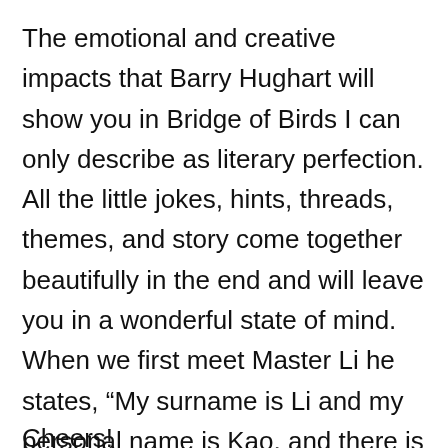The emotional and creative impacts that Barry Hughart will show you in Bridge of Birds I can only describe as literary perfection. All the little jokes, hints, threads, themes, and story come together beautifully in the end and will leave you in a wonderful state of mind. When we first meet Master Li he states, “My surname is Li and my personal name is Kao, and there is a slight flaw in my character,” I can tell you there is no flaw in the execution and wonder of a Bridge of Birds and I hope you will revisit it time and time again!
Cheers!